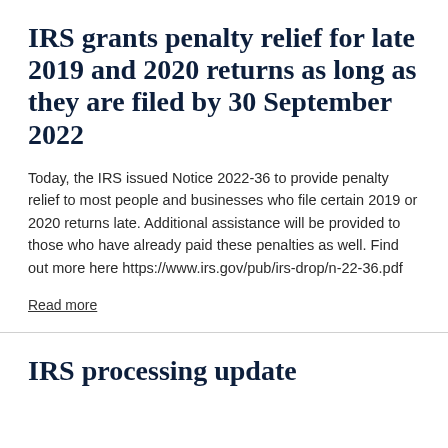IRS grants penalty relief for late 2019 and 2020 returns as long as they are filed by 30 September 2022
Today, the IRS issued Notice 2022-36 to provide penalty relief to most people and businesses who file certain 2019 or 2020 returns late. Additional assistance will be provided to those who have already paid these penalties as well. Find out more here https://www.irs.gov/pub/irs-drop/n-22-36.pdf
Read more
IRS processing update